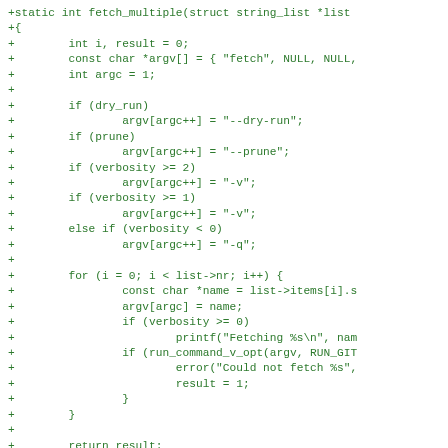+static int fetch_multiple(struct string_list *list
+{
+        int i, result = 0;
+        const char *argv[] = { "fetch", NULL, NULL,
+        int argc = 1;
+
+        if (dry_run)
+                argv[argc++] = "--dry-run";
+        if (prune)
+                argv[argc++] = "--prune";
+        if (verbosity >= 2)
+                argv[argc++] = "-v";
+        if (verbosity >= 1)
+                argv[argc++] = "-v";
+        else if (verbosity < 0)
+                argv[argc++] = "-q";
+
+        for (i = 0; i < list->nr; i++) {
+                const char *name = list->items[i].s
+                argv[argc] = name;
+                if (verbosity >= 0)
+                        printf("Fetching %s\n", nam
+                if (run_command_v_opt(argv, RUN_GIT
+                        error("Could not fetch %s",
+                        result = 1;
+                }
+        }
+
+        return result;
+}